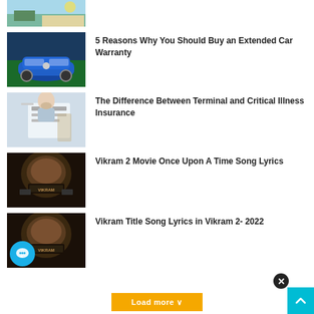[Figure (photo): Partial beach/tropical scene thumbnail at top]
[Figure (photo): Blue BMW car on tropical background thumbnail]
5 Reasons Why You Should Buy an Extended Car Warranty
[Figure (photo): Man wearing mask reading documents at desk thumbnail]
The Difference Between Terminal and Critical Illness Insurance
[Figure (photo): Vikram 2 movie close-up face thumbnail]
Vikram 2 Movie Once Upon A Time Song Lyrics
[Figure (photo): Vikram face close-up with chat bubble overlay thumbnail]
Vikram Title Song Lyrics in Vikram 2- 2022